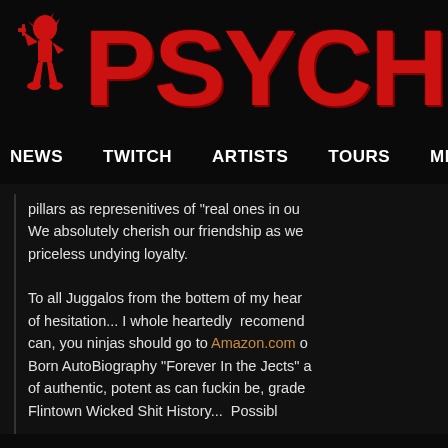PSYCHOPATHIC (logo with hatchet man)
NEWS  TWITCH  ARTISTS  TOURS  MERCH ST
pillars as represenitives of "real ones in our We absolutely cherish our friendship as we priceless undying loyalty.
To all Juggalos from the bottem of my hear of hesitation... I whole heartedly  recomend can, you ninjas should go to Amazon.com o Born AutoBiography "Forever In the Jects" a of authentic, potent as can fuckin be, grade Flintown Wicked Shit History...  Possible